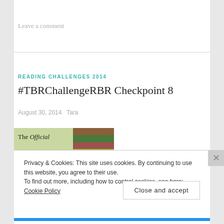Leave a comment
READING CHALLENGES 2014
#TBRChallengeRBR Checkpoint 8
August 30, 2014   Tara
[Figure (photo): Book cover image showing 'The Official 2014' text with a stack of colorful books on the right side]
Privacy & Cookies: This site uses cookies. By continuing to use this website, you agree to their use.
To find out more, including how to control cookies, see here: Cookie Policy
Close and accept